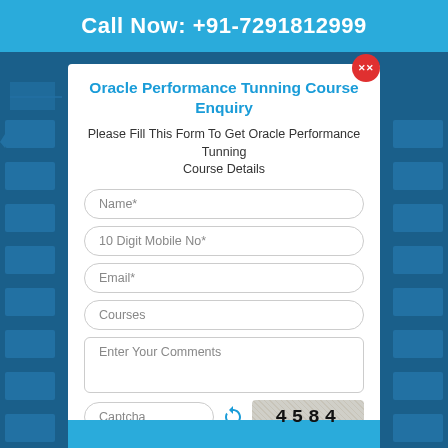Call Now: +91-7291812999
Oracle Performance Tunning Course Enquiry
Please Fill This Form To Get Oracle Performance Tunning Course Details
Name*
10 Digit Mobile No*
Email*
Courses
Enter Your Comments
Captcha
[Figure (other): CAPTCHA image showing the number 4584 on a grainy/speckled background]